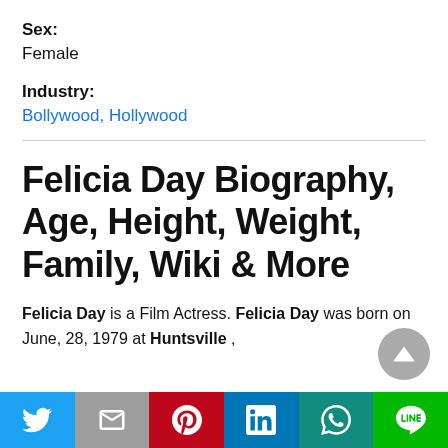Sex:
Female
Industry:
Bollywood, Hollywood
Felicia Day Biography, Age, Height, Weight, Family, Wiki & More
Felicia Day is a Film Actress. Felicia Day was born on June, 28, 1979 at Huntsville ,